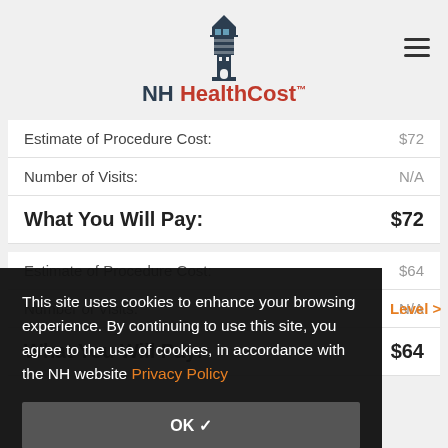NH HealthCost
|  |  |
| --- | --- |
| Estimate of Procedure Cost: | $72 |
| Number of Visits: | N/A |
| What You Will Pay: | $72 |
|  |  |
| --- | --- |
| Estimate of Procedure Cost: | $64 |
| Number of Visits: | N/A |
| What You Will Pay: | $64 |
This site uses cookies to enhance your browsing experience. By continuing to use this site, you agree to the use of cookies, in accordance with the NH website Privacy Policy
OK ✓